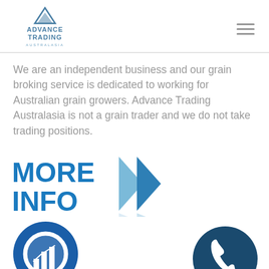[Figure (logo): Advance Trading Australasia logo with triangular mountain icon above text]
We are an independent business and our grain broking service is dedicated to working for Australian grain growers. Advance Trading Australasia is not a grain trader and we do not take trading positions.
[Figure (infographic): MORE INFO text in bold blue with double right-pointing chevron arrows in blue]
[Figure (infographic): Blue circle icon with magnifying glass over bar chart symbol]
[Figure (infographic): Dark blue circle icon with telephone handset symbol]